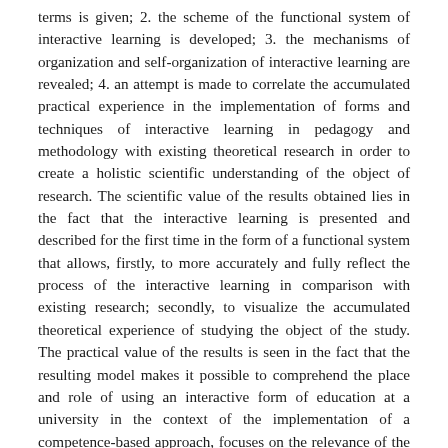terms is given; 2. the scheme of the functional system of interactive learning is developed; 3. the mechanisms of organization and self-organization of interactive learning are revealed; 4. an attempt is made to correlate the accumulated practical experience in the implementation of forms and techniques of interactive learning in pedagogy and methodology with existing theoretical research in order to create a holistic scientific understanding of the object of research. The scientific value of the results obtained lies in the fact that the interactive learning is presented and described for the first time in the form of a functional system that allows, firstly, to more accurately and fully reflect the process of the interactive learning in comparison with existing research; secondly, to visualize the accumulated theoretical experience of studying the object of the study. The practical value of the results is seen in the fact that the resulting model makes it possible to comprehend the place and role of using an interactive form of education at a university in the context of the implementation of a competence-based approach, focuses on the relevance of the problem of the systematic study of